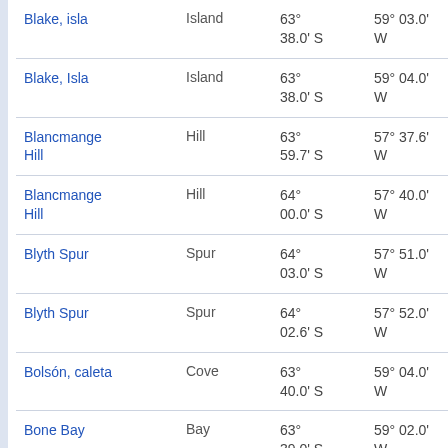| Name | Type | Latitude | Longitude | Elevation |
| --- | --- | --- | --- | --- |
| Blake, isla | Island | 63° 38.0' S | 59° 03.0' W | 58.0 at 3... |
| Blake, Isla | Island | 63° 38.0' S | 59° 04.0' W | 58.5 at 3... |
| Blancmange Hill | Hill | 63° 59.7' S | 57° 37.6' W | 41.3 at 77... |
| Blancmange Hill | Hill | 64° 00.0' S | 57° 40.0' W | 39.2 at 77... |
| Blyth Spur | Spur | 64° 03.0' S | 57° 51.0' W | 29.4 at 83... |
| Blyth Spur | Spur | 64° 02.6' S | 57° 52.0' W | 28.7 at 81... |
| Bolsón, caleta | Cove | 63° 40.0' S | 59° 04.0' W | 55.3 at 3... |
| Bone Bay | Bay | 63° 39.0' S | 59° 02.0' W | 56.0 at 3... |